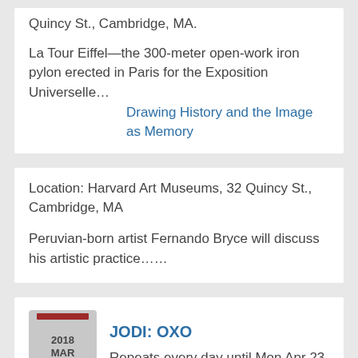Quincy St., Cambridge, MA.
La Tour Eiffel—the 300-meter open-work iron pylon erected in Paris for the Exposition Universelle…
Drawing History and the Image as Memory
Location: Harvard Art Museums, 32 Quincy St., Cambridge, MA
Peruvian-born artist Fernando Bryce will discuss his artistic practice……
2018 MAR 09
JODI: OXO
Repeats every day until Mon Apr 23